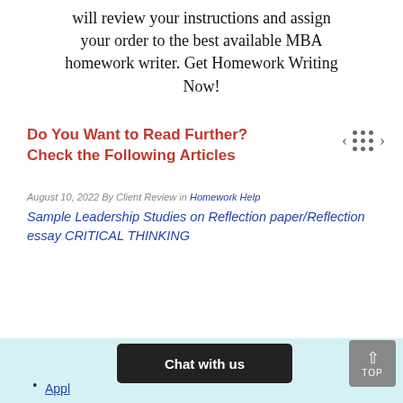will review your instructions and assign your order to the best available MBA homework writer. Get Homework Writing Now!
Do You Want to Read Further? Check the Following Articles
August 10, 2022 By Client Review in Homework Help
Sample Leadership Studies on Reflection paper/Reflection essay CRITICAL THINKING
Appl…
Chat with us